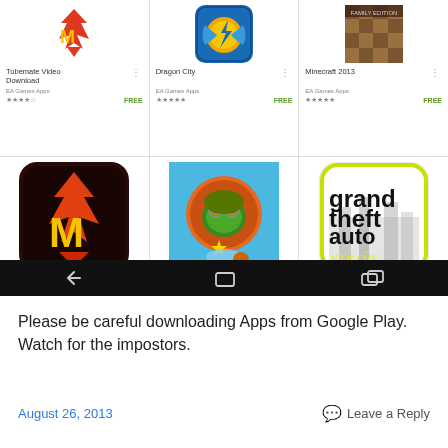[Figure (screenshot): Screenshot of a Google Play Store page showing 6 app listings in a 3x2 grid. Top row: Tubemate Video Download (EA Games Apps, 4 stars, FREE), Dragon City (EA Games Apps, 5 stars, FREE), Minecraft 2013 (EA Games Apps, 5 stars, FREE). Bottom row shows large icons for: TubeM (red/dark icon), a frog cartoon game, and Grand Theft Auto Vice City. Below the grid is an Android navigation bar on a black background.]
Please be careful downloading Apps from Google Play. Watch for the impostors.
August 26, 2013
Leave a Reply